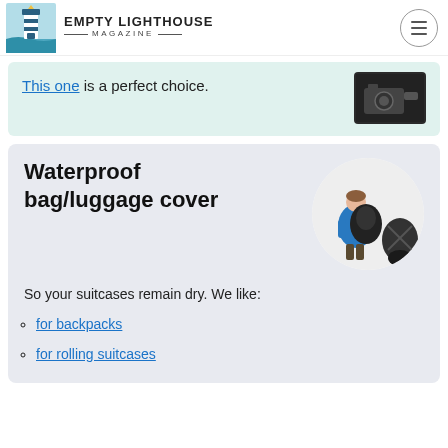EMPTY LIGHTHOUSE MAGAZINE
This one is a perfect choice.
Waterproof bag/luggage cover
So your suitcases remain dry. We like:
for backpacks
for rolling suitcases